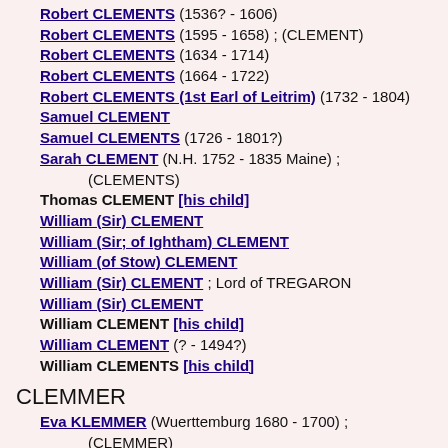Robert CLEMENTS (1536? - 1606)
Robert CLEMENTS (1595 - 1658) ; (CLEMENT)
Robert CLEMENTS (1634 - 1714)
Robert CLEMENTS (1664 - 1722)
Robert CLEMENTS (1st Earl of Leitrim) (1732 - 1804)
Samuel CLEMENT
Samuel CLEMENTS (1726 - 1801?)
Sarah CLEMENT (N.H. 1752 - 1835 Maine) ; (CLEMENTS)
Thomas CLEMENT [his child]
William (Sir) CLEMENT
William (Sir; of Ightham) CLEMENT
William (of Stow) CLEMENT
William (Sir) CLEMENT ; Lord of TREGARON
William (Sir) CLEMENT
William CLEMENT [his child]
William CLEMENT (? - 1494?)
William CLEMENTS [his child]
CLEMMER
Eva KLEMMER (Wuerttemburg 1680 - 1700) ; (CLEMMER)
Georg CLEMMER (1614? - ?)
Marx CLEMMER [his child]